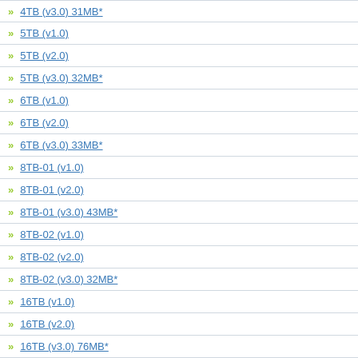4TB (v3.0) 31MB*
5TB (v1.0)
5TB (v2.0)
5TB (v3.0) 32MB*
6TB (v1.0)
6TB (v2.0)
6TB (v3.0) 33MB*
8TB-01 (v1.0)
8TB-01 (v2.0)
8TB-01 (v3.0) 43MB*
8TB-02 (v1.0)
8TB-02 (v2.0)
8TB-02 (v3.0) 32MB*
16TB (v1.0)
16TB (v2.0)
16TB (v3.0) 76MB*
Systems & Emulators
Core Hyperspin Files